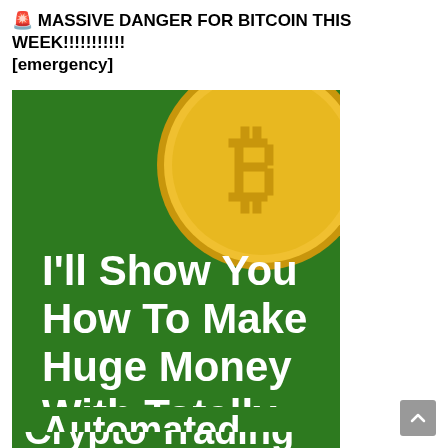🚨 MASSIVE DANGER FOR BITCOIN THIS WEEK!!!!!!!!!!!  [emergency]
[Figure (illustration): Promotional image with dark green background showing a gold Bitcoin coin in the upper right corner, with bold white text reading: I'll Show You How To Make Huge Money With Totally Automated Crypto Trading]